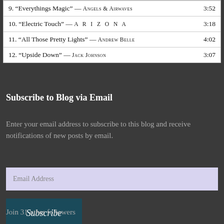| 9. “Everythings Magic” — ANGELS & AIRWAVES | 3:52 |
| 10. “Electric Touch” — A R I Z O N A | 3:18 |
| 11. “All Those Pretty Lights” — ANDREW BELLE | 4:02 |
| 12. “Upside Down” — JACK JOHNSON | 3:07 |
Subscribe to Blog via Email
Enter your email address to subscribe to this blog and receive notifications of new posts by email.
Email Address
Subscribe
Join 31 other followers